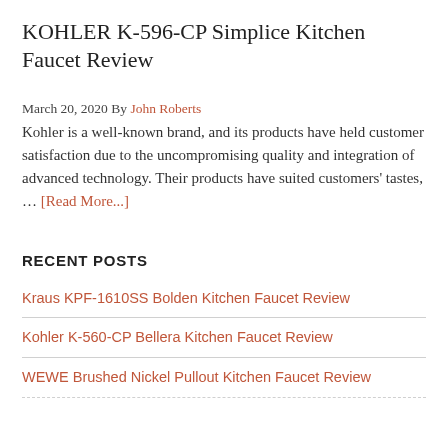KOHLER K-596-CP Simplice Kitchen Faucet Review
March 20, 2020 By John Roberts
Kohler is a well-known brand, and its products have held customer satisfaction due to the uncompromising quality and integration of advanced technology. Their products have suited customers' tastes, … [Read More...]
RECENT POSTS
Kraus KPF-1610SS Bolden Kitchen Faucet Review
Kohler K-560-CP Bellera Kitchen Faucet Review
WEWE Brushed Nickel Pullout Kitchen Faucet Review